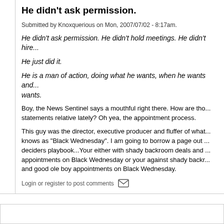He didn't ask permission.
Submitted by Knoxquerious on Mon, 2007/07/02 - 8:17am.
He didn't ask permission. He didn't hold meetings. He didn't hire...
He just did it.
He is a man of action, doing what he wants, when he wants and... wants.
Boy, the News Sentinel says a mouthful right there. How are tho... statements relative lately? Oh yea, the appointment process.
This guy was the director, executive producer and fluffer of what... knows as "Black Wednesday". I am going to borrow a page out ... deciders playbook...Your either with shady backroom deals and ... appointments on Black Wednesday or your against shady backr... and good ole boy appointments on Black Wednesday.
Login or register to post comments